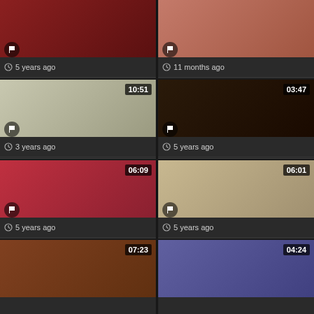[Figure (photo): Video thumbnail grid item 1 - woman in red, 5 years ago]
[Figure (photo): Video thumbnail grid item 2 - 11 months ago]
[Figure (photo): Video thumbnail grid item 3 - kitchen scene, duration 10:51, 3 years ago]
[Figure (photo): Video thumbnail grid item 4 - duration 03:47, 5 years ago]
[Figure (photo): Video thumbnail grid item 5 - duration 06:09, 5 years ago]
[Figure (photo): Video thumbnail grid item 6 - bedroom scene, duration 06:01, 5 years ago]
[Figure (photo): Video thumbnail grid item 7 - partial, duration 07:23]
[Figure (photo): Video thumbnail grid item 8 - partial, duration 04:24]